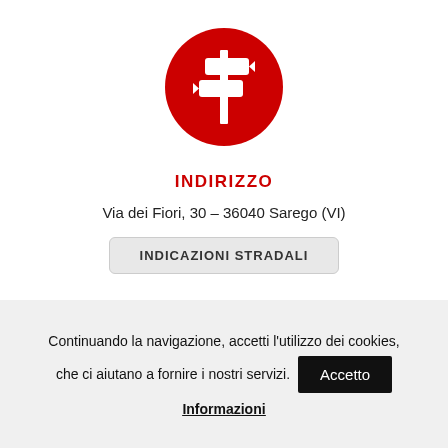[Figure (illustration): Red circular icon with white road/direction signs (two horizontal arrows pointing left and right on a vertical pole), centered on white background]
INDIRIZZO
Via dei Fiori, 30 – 36040 Sarego (VI)
INDICAZIONI STRADALI
Continuando la navigazione, accetti l'utilizzo dei cookies, che ci aiutano a fornire i nostri servizi.
Accetto
Informazioni